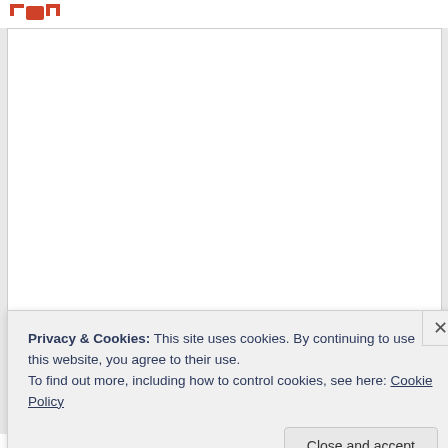[Figure (logo): Red bracket/camera icon logo in top-left corner]
[Figure (other): Large white content area (blank document/page body)]
Privacy & Cookies: This site uses cookies. By continuing to use this website, you agree to their use.
To find out more, including how to control cookies, see here: Cookie Policy
Close and accept